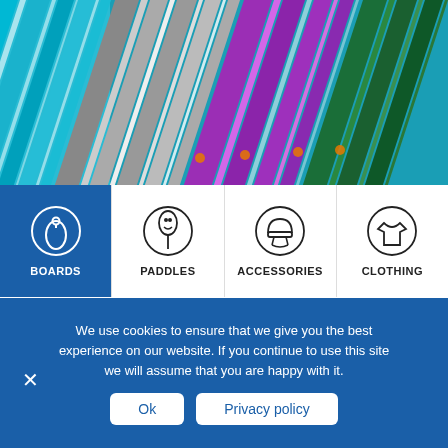[Figure (photo): Close-up photo of colorful surfboard fins or paddles arranged diagonally — teal/cyan, gray/white, purple/magenta, and dark green stripes]
[Figure (infographic): Navigation category bar with four icons: BOARDS (active, dark blue background), PADDLES, ACCESSORIES, CLOTHING]
We use cookies to ensure that we give you the best experience on our website. If you continue to use this site we will assume that you are happy with it.